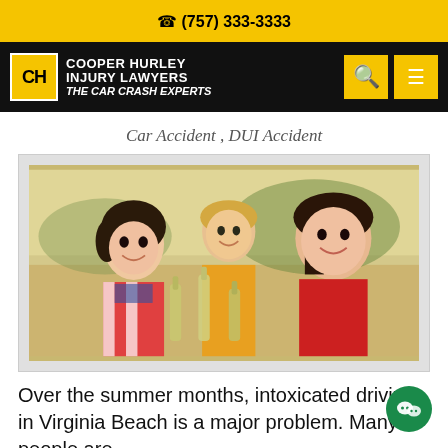☎ (757) 333-3333
[Figure (logo): Cooper Hurley Injury Lawyers – The Car Crash Experts logo with yellow badge on black navigation bar]
Car Accident , DUI Accident
[Figure (photo): Three young people smiling and clinking beer bottles together outdoors]
Over the summer months, intoxicated driving in Virginia Beach is a major problem. Many people are